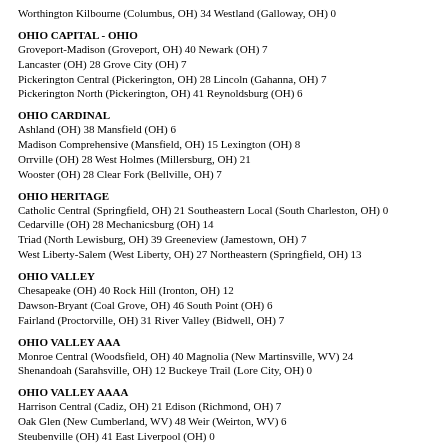Worthington Kilbourne (Columbus, OH) 34 Westland (Galloway, OH) 0
OHIO CAPITAL - OHIO
Groveport-Madison (Groveport, OH) 40 Newark (OH) 7
Lancaster (OH) 28 Grove City (OH) 7
Pickerington Central (Pickerington, OH) 28 Lincoln (Gahanna, OH) 7
Pickerington North (Pickerington, OH) 41 Reynoldsburg (OH) 6
OHIO CARDINAL
Ashland (OH) 38 Mansfield (OH) 6
Madison Comprehensive (Mansfield, OH) 15 Lexington (OH) 8
Orrville (OH) 28 West Holmes (Millersburg, OH) 21
Wooster (OH) 28 Clear Fork (Bellville, OH) 7
OHIO HERITAGE
Catholic Central (Springfield, OH) 21 Southeastern Local (South Charleston, OH) 0
Cedarville (OH) 28 Mechanicsburg (OH) 14
Triad (North Lewisburg, OH) 39 Greeneview (Jamestown, OH) 7
West Liberty-Salem (West Liberty, OH) 27 Northeastern (Springfield, OH) 13
OHIO VALLEY
Chesapeake (OH) 40 Rock Hill (Ironton, OH) 12
Dawson-Bryant (Coal Grove, OH) 46 South Point (OH) 6
Fairland (Proctorville, OH) 31 River Valley (Bidwell, OH) 7
OHIO VALLEY AAA
Monroe Central (Woodsfield, OH) 40 Magnolia (New Martinsville, WV) 24
Shenandoah (Sarahsville, OH) 12 Buckeye Trail (Lore City, OH) 0
OHIO VALLEY AAAA
Harrison Central (Cadiz, OH) 21 Edison (Richmond, OH) 7
Oak Glen (New Cumberland, WV) 48 Weir (Weirton, WV) 6
Steubenville (OH) 41 East Liverpool (OH) 0
OHIO VALLEY AAAAA
Wheeling Park (Wheeling, WV) 28 Marshall (Glen Dale, WV) 6
PATRIOT - STARS
Black River (Sullivan, OH) 14 Buckeye (Medina, OH) 0
Brookside (Sheffield, OH) 13 Keystone (La Grange, OH) 8
Firelands (Oberlin, OH) 20 Wellington (OH) 12